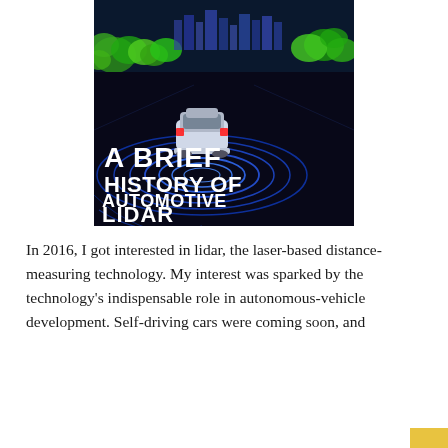[Figure (illustration): Book cover image: A lidar point-cloud visualization showing a car on a dark road with concentric blue rings, surrounded by green/colorful point-cloud city scenery. White bold text reads 'A BRIEF HISTORY OF AUTOMOTIVE LIDAR'.]
In 2016, I got interested in lidar, the laser-based distance-measuring technology. My interest was sparked by the technology's indispensable role in autonomous-vehicle development. Self-driving cars were coming soon, and